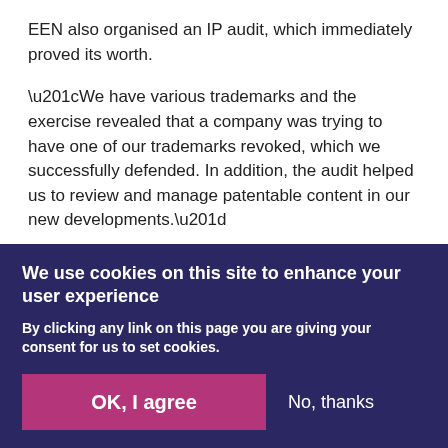EEN also organised an IP audit, which immediately proved its worth.
“We have various trademarks and the exercise revealed that a company was trying to have one of our trademarks revoked, which we successfully defended. In addition, the audit helped us to review and manage patentable content in our new developments.”
We use cookies on this site to enhance your user experience
By clicking any link on this page you are giving your consent for us to set cookies.
OK, I agree   No, thanks